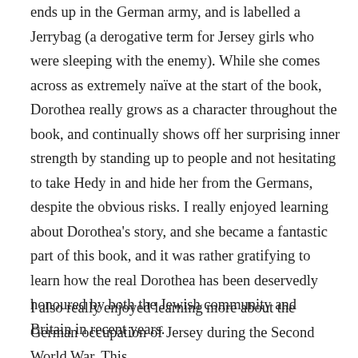ends up in the German army, and is labelled a Jerrybag (a derogative term for Jersey girls who were sleeping with the enemy). While she comes across as extremely naïve at the start of the book, Dorothea really grows as a character throughout the book, and continually shows off her surprising inner strength by standing up to people and not hesitating to take Hedy in and hide her from the Germans, despite the obvious risks. I really enjoyed learning about Dorothea's story, and she became a fantastic part of this book, and it was rather gratifying to learn how the real Dorothea has been deservedly honoured by both the Jewish community and Britain in recent years.
I also really enjoyed learning more about the German occupation of Jersey during the Second World War. This